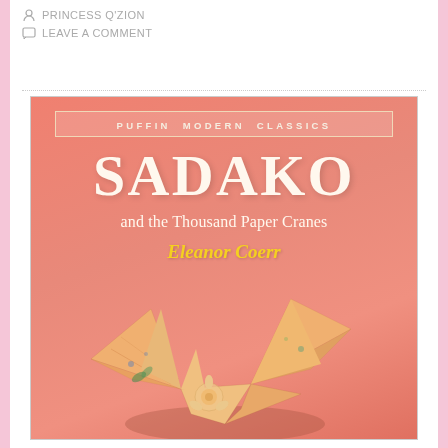PRINCESS Q'ZION
LEAVE A COMMENT
[Figure (illustration): Book cover of 'Sadako and the Thousand Paper Cranes' by Eleanor Coerr, Puffin Modern Classics edition. Salmon/coral pink background with large white serif title 'SADAKO', subtitle 'and the Thousand Paper Cranes', author name 'Eleanor Coerr' in yellow italic, and a decorative origami paper crane with floral patterns at the bottom.]